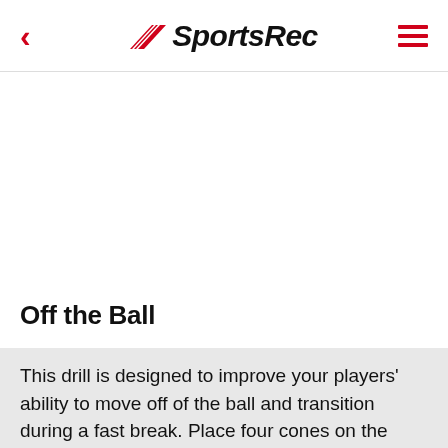SportsRec
Off the Ball
This drill is designed to improve your players' ability to move off of the ball and transition during a fast break. Place four cones on the field, each 10 yards apart.